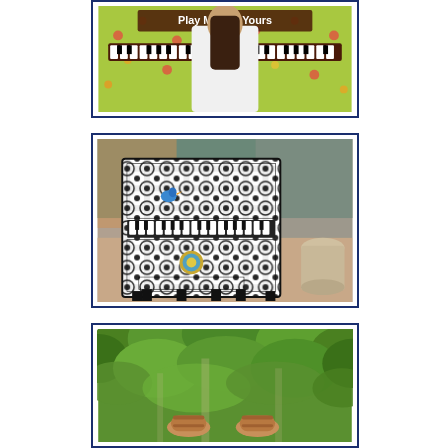[Figure (photo): A person with long dark hair wearing a white shirt seen from behind, playing a colorfully decorated upright piano outdoors. The piano is painted with a bright green floral pattern. Text on the piano reads 'Play Me I'm Yours'.]
[Figure (photo): An upright piano decorated with black and white floral/damask pattern, placed outdoors on a brick plaza. A small blue bird is visible on the piano. A piano bench in the same pattern sits in front. Urban street scene in the background.]
[Figure (photo): A person's feet in tan/brown sandals visible at the bottom of the frame, surrounded by lush green tree canopy viewed from below looking up.]